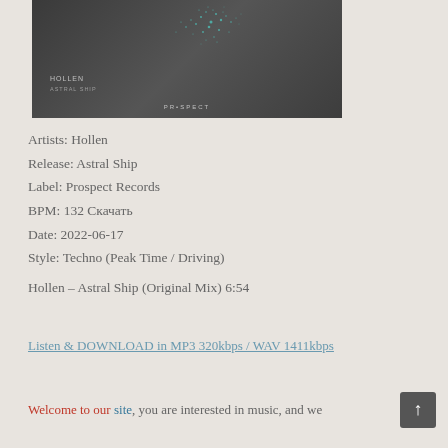[Figure (illustration): Album art for Hollen - Astral Ship on Prospect Records. Dark grey background with teal/cyan particle splash effect in upper portion. Text shows HOLLEN, ASTRAL SHIP, and PROSPECT logo at bottom.]
Artists: Hollen
Release: Astral Ship
Label: Prospect Records
BPM: 132 Скачать
Date: 2022-06-17
Style: Techno (Peak Time / Driving)
Hollen – Astral Ship (Original Mix) 6:54
Listen & DOWNLOAD in MP3 320kbps / WAV 1411kbps
Welcome to our site, you are interested in music, and we